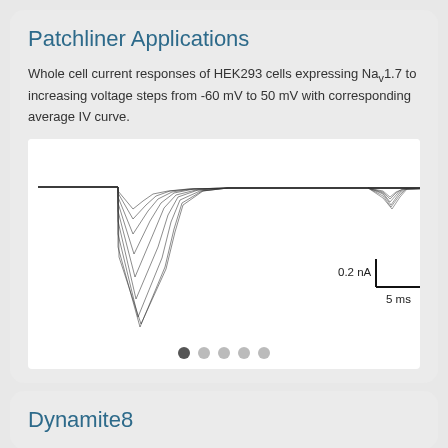Patchliner Applications
Whole cell current responses of HEK293 cells expressing Nav1.7 to increasing voltage steps from -60 mV to 50 mV with corresponding average IV curve.
[Figure (continuous-plot): Whole cell current traces showing multiple overlapping electrophysiology recordings with inward sodium current deflections of varying amplitude. Scale bar shows 0.2 nA (vertical) and 5 ms (horizontal). Carousel navigation dots shown at bottom with first dot active.]
Dynamite8